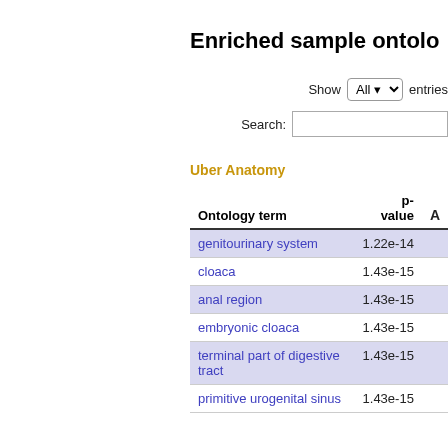Enriched sample ontolo…
Show All entries
Search:
Uber Anatomy
| Ontology term | p-value | A… |
| --- | --- | --- |
| genitourinary system | 1.22e-14 |  |
| cloaca | 1.43e-15 |  |
| anal region | 1.43e-15 |  |
| embryonic cloaca | 1.43e-15 |  |
| terminal part of digestive tract | 1.43e-15 |  |
| primitive urogenital sinus | 1.43e-15 |  |